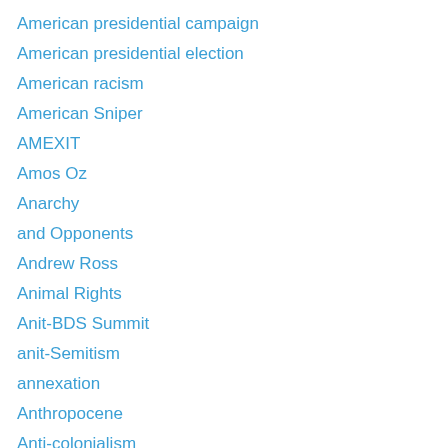American presidential campaign
American presidential election
American racism
American Sniper
AMEXIT
Amos Oz
Anarchy
and Opponents
Andrew Ross
Animal Rights
Anit-BDS Summit
anit-Semitism
annexation
Anthropocene
Anti-colonialism
anti-Israel bias
anti-Semitism
anti-Semitism
Anti-Turkish Campaign
Anti-Zionism UN Resolution